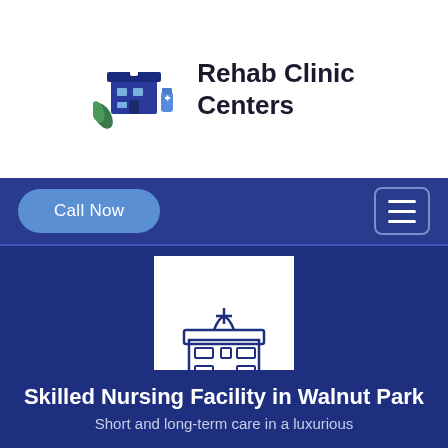[Figure (logo): Rehab Clinic Centers logo: blue building with medical cross and pharmacy items icon on left, bold text on right reading 'Rehab Clinic Centers']
Call Now
[Figure (illustration): White card containing a dark blue line-art illustration of a medical/clinic building with a cross symbol on top, windows and a door]
Skilled Nursing Facility in Walnut Park
Short and long-term care in a luxurious